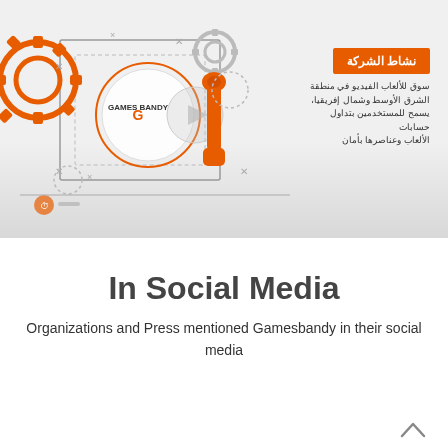[Figure (illustration): Games Bandy company illustration with gears, wrench, dotted elements, play button, and Arabic text describing a video game marketplace platform for the Middle East and North Africa region. Orange badge reads 'نشاط الشركة' (Company Activity).]
In Social Media
Organizations and Press mentioned Gamesbandy in their social media